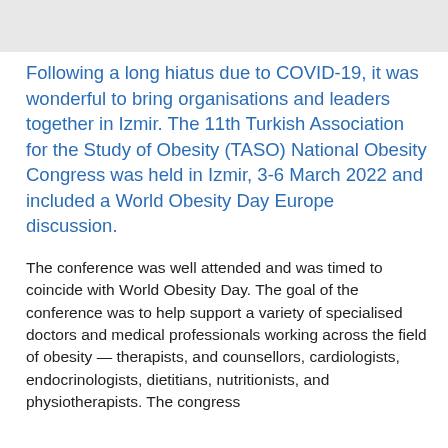Following a long hiatus due to COVID-19, it was wonderful to bring organisations and leaders together in Izmir. The 11th Turkish Association for the Study of Obesity (TASO) National Obesity Congress was held in Izmir, 3-6 March 2022 and included a World Obesity Day Europe discussion.
The conference was well attended and was timed to coincide with World Obesity Day. The goal of the conference was to help support a variety of specialised doctors and medical professionals working across the field of obesity — therapists, and counsellors, cardiologists, endocrinologists, dietitians, nutritionists, and physiotherapists. The congress